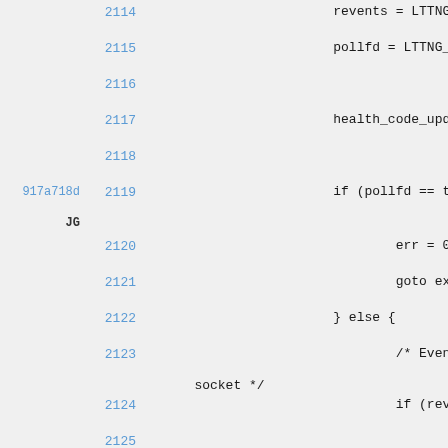[Figure (screenshot): Source code viewer showing lines 2114-2127 of a C file with git blame annotations. Line 2119 is annotated with commit hash 917a718d and author JG. Code includes LTTNG_P assignments, health_code_update, pollfd comparisons, and error handling logic.]